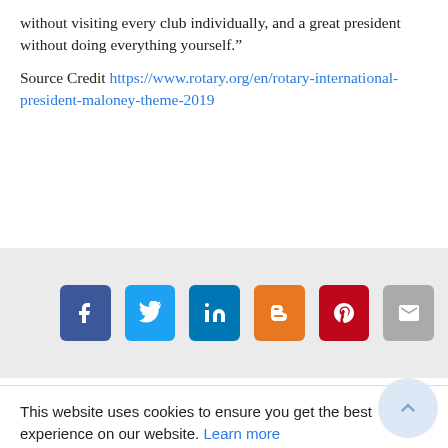without visiting every club individually, and a great president without doing everything yourself.”
Source Credit https://www.rotary.org/en/rotary-international-president-maloney-theme-2019
[Figure (infographic): Social media share icons row: Facebook (dark blue), Twitter (light blue), LinkedIn (dark teal), Blogger (orange), Pinterest (red), Email (grey)]
This website uses cookies to ensure you get the best experience on our website. Learn more
GOT IT!